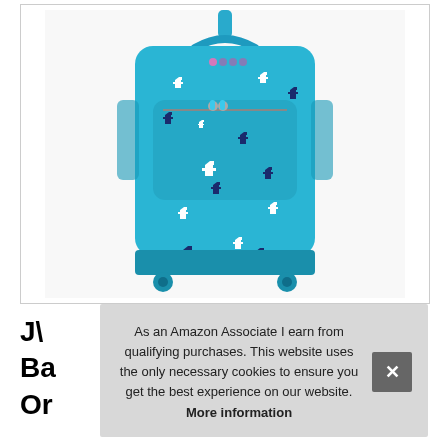[Figure (photo): A teal/blue rolling wheeled backpack with white and navy dog silhouettes printed all over the fabric. The bag has a telescoping handle at top, two zippers on front pocket, mesh side pockets, and a wheeled base with two small teal wheels.]
J
Ba
Or
As an Amazon Associate I earn from qualifying purchases. This website uses the only necessary cookies to ensure you get the best experience on our website. More information